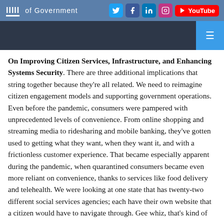Institute of Government — social media icons: Twitter, Facebook, LinkedIn, Instagram, YouTube
On Improving Citizen Services, Infrastructure, and Enhancing Systems Security. There are three additional implications that string together because they're all related. We need to reimagine citizen engagement models and supporting government operations. Even before the pandemic, consumers were pampered with unprecedented levels of convenience. From online shopping and streaming media to ridesharing and mobile banking, they've gotten used to getting what they want, when they want it, and with a frictionless customer experience. That became especially apparent during the pandemic, when quarantined consumers became even more reliant on convenience, thanks to services like food delivery and telehealth. We were looking at one state that has twenty-two different social services agencies; each have their own website that a citizen would have to navigate through. Gee whiz, that's kind of